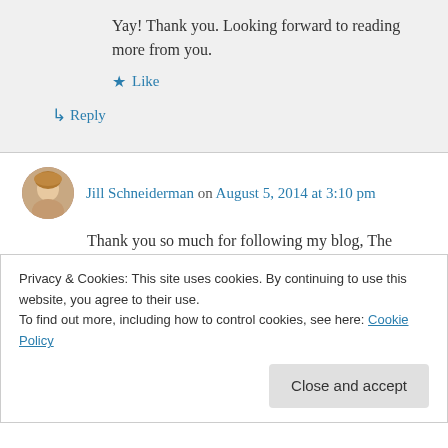Yay! Thank you. Looking forward to reading more from you.
★ Like
↳ Reply
Jill Schneiderman on August 5, 2014 at 3:10 pm
Thank you so much for following my blog, The Whiz-ard That is Dr. Oz, and liking my blog entry! It means a lot and your blog is wonderful
↳ Reply
Privacy & Cookies: This site uses cookies. By continuing to use this website, you agree to their use.
To find out more, including how to control cookies, see here: Cookie Policy
Close and accept